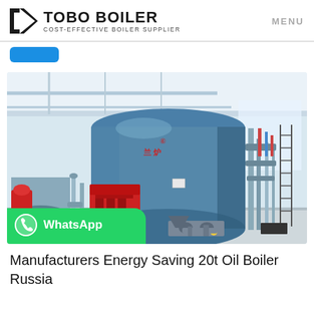TOBO BOILER — COST-EFFECTIVE BOILER SUPPLIER — MENU
[Figure (photo): Industrial boiler equipment inside a facility: large blue cylindrical boiler with red burner assembly, piping and valves, in a white industrial building. WhatsApp chat badge overlaid at bottom-left.]
Manufacturers Energy Saving 20t Oil Boiler Russia